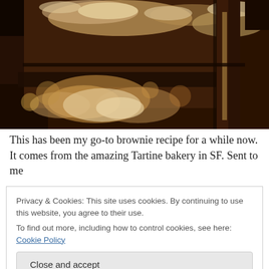[Figure (photo): Close-up photo of chocolate brownies with a glossy, caramel-swirled top, showing rich fudgy texture and multiple squares.]
This has been my go-to brownie recipe for a while now. It comes from the amazing Tartine bakery in SF. Sent to me
Privacy & Cookies: This site uses cookies. By continuing to use this website, you agree to their use.
To find out more, including how to control cookies, see here: Cookie Policy
[Close and accept]
transform into a dense fudgy texture. Either way, these are